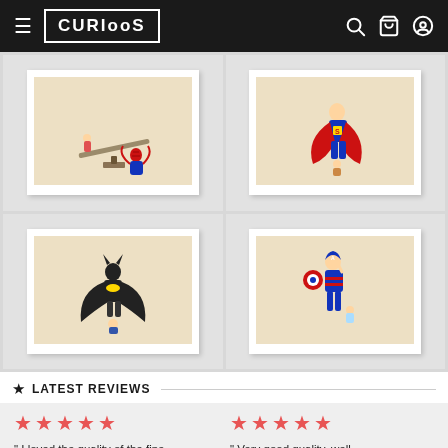CURIOOS
[Figure (photo): Four superhero-themed art prints in a 2x2 grid: Spider-Man seesaw scene, Superman and child, Batman with baby, Captain America with child]
LATEST REVIEWS
" I loved the quality of the fine
" Very good quality, well